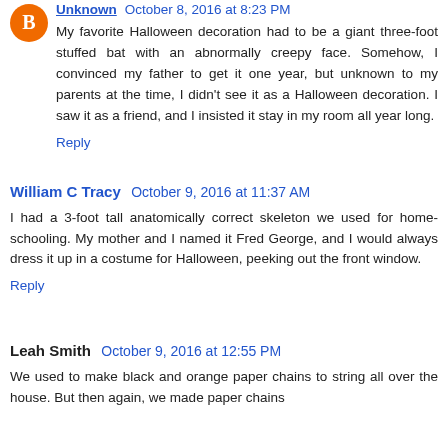Unknown · October 8, 2016 at 8:23 PM
My favorite Halloween decoration had to be a giant three-foot stuffed bat with an abnormally creepy face. Somehow, I convinced my father to get it one year, but unknown to my parents at the time, I didn't see it as a Halloween decoration. I saw it as a friend, and I insisted it stay in my room all year long.
Reply
William C Tracy · October 9, 2016 at 11:37 AM
I had a 3-foot tall anatomically correct skeleton we used for home-schooling. My mother and I named it Fred George, and I would always dress it up in a costume for Halloween, peeking out the front window.
Reply
Leah Smith · October 9, 2016 at 12:55 PM
We used to make black and orange paper chains to string all over the house. But then again, we made paper chains